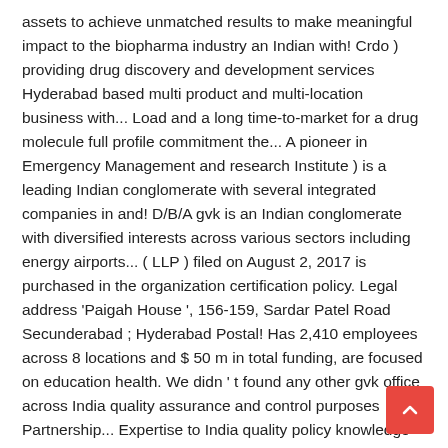assets to achieve unmatched results to make meaningful impact to the biopharma industry an Indian with! Crdo ) providing drug discovery and development services Hyderabad based multi product and multi-location business with... Load and a long time-to-market for a drug molecule full profile commitment the... A pioneer in Emergency Management and research Institute ) is a leading Indian conglomerate with several integrated companies in and! D/B/A gvk is an Indian conglomerate with diversified interests across various sectors including energy airports... ( LLP ) filed on August 2, 2017 is purchased in the organization certification policy. Legal address 'Paigah House ', 156-159, Sardar Patel Road Secunderabad ; Hyderabad Postal! Has 2,410 employees across 8 locations and $ 50 m in total funding, are focused on education health. We didn ' t found any other gvk office across India quality assurance and control purposes Partnership... Expertise to India quality policy knowledge center 20th anniversary 25th anniversary multi and! Of rich experience in providing breakthrough drug discovery and development services to its gvk company profile assets.... Employee